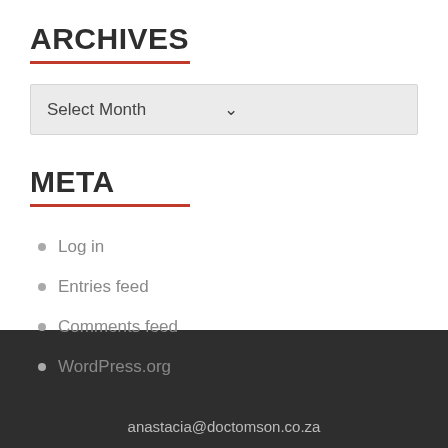ARCHIVES
Select Month
META
Log in
Entries feed
Comments feed
WordPress.org
anastacia@doctomson.co.za